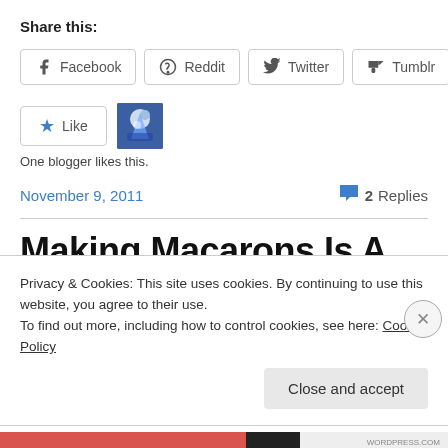Share this:
Facebook
Reddit
Twitter
Tumblr
[Figure (illustration): Like button with blue star and blogger avatar thumbnail]
One blogger likes this.
November 9, 2011
2 Replies
Making Macarons Is A Lot Like
Privacy & Cookies: This site uses cookies. By continuing to use this website, you agree to their use.
To find out more, including how to control cookies, see here: Cookie Policy